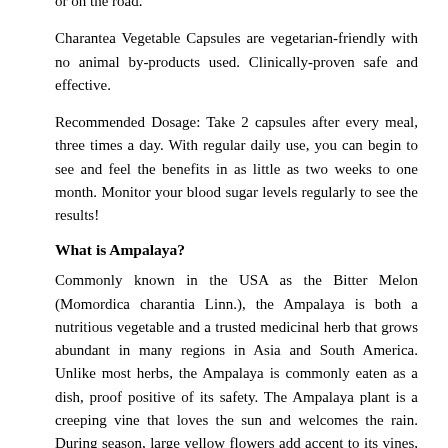or on the road.
Charantea Vegetable Capsules are vegetarian-friendly with no animal by-products used. Clinically-proven safe and effective.
Recommended Dosage: Take 2 capsules after every meal, three times a day. With regular daily use, you can begin to see and feel the benefits in as little as two weeks to one month. Monitor your blood sugar levels regularly to see the results!
What is Ampalaya?
Commonly known in the USA as the Bitter Melon (Momordica charantia Linn.), the Ampalaya is both a nutritious vegetable and a trusted medicinal herb that grows abundant in many regions in Asia and South America. Unlike most herbs, the Ampalaya is commonly eaten as a dish, proof positive of its safety. The Ampalaya plant is a creeping vine that loves the sun and welcomes the rain. During season, large yellow flowers add accent to its vines, accompanying its much-valued fruit.
The Ampalaya is also known by many names: Karela (India), Nigai Uri (Japan), Amorgozo (Mexico) and Fukwa (China). In the United States it is known as the Bitter Melon.
How does it work?
Since as early as the 1940s, scientific research conducted in many countries